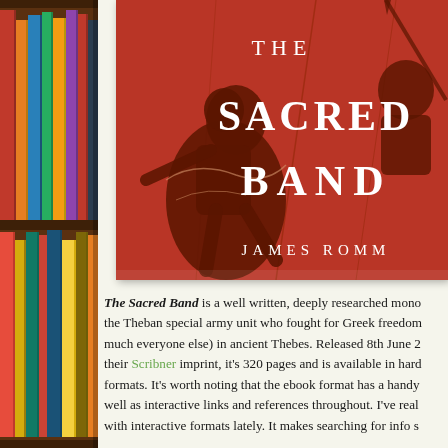[Figure (photo): Bookshelf with colorful books on the left side of the page]
[Figure (photo): Book cover of 'The Sacred Band' by James Romm — red/orange cover with silhouettes of ancient Greek warriors, text reads THE SACRED BAND and JAMES ROMM]
The Sacred Band is a well written, deeply researched mono... the Theban special army unit who fought for Greek freedom... much everyone else) in ancient Thebes. Released 8th June 2... their Scribner imprint, it's 320 pages and is available in hard... formats. It's worth noting that the ebook format has a handy... well as interactive links and references throughout. I've real... with interactive formats lately. It makes searching for info s...